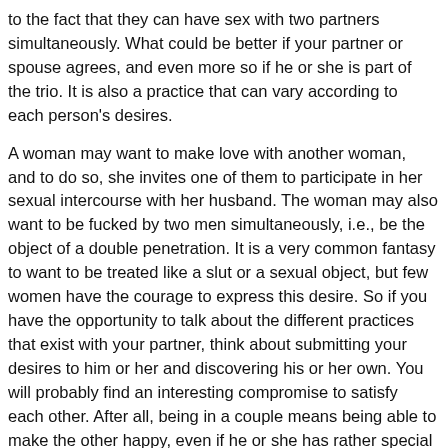to the fact that they can have sex with two partners simultaneously. What could be better if your partner or spouse agrees, and even more so if he or she is part of the trio. It is also a practice that can vary according to each person's desires.
A woman may want to make love with another woman, and to do so, she invites one of them to participate in her sexual intercourse with her husband. The woman may also want to be fucked by two men simultaneously, i.e., be the object of a double penetration. It is a very common fantasy to want to be treated like a slut or a sexual object, but few women have the courage to express this desire. So if you have the opportunity to talk about the different practices that exist with your partner, think about submitting your desires to him or her and discovering his or her own. You will probably find an interesting compromise to satisfy each other. After all, being in a couple means being able to make the other happy, even if he or she has rather special expectations.
Threesome is also when a man caresses the idea of being able to get two sexy women at the same time. The object of his arousal can also be to see two women kissing in front of his eyes, giving...